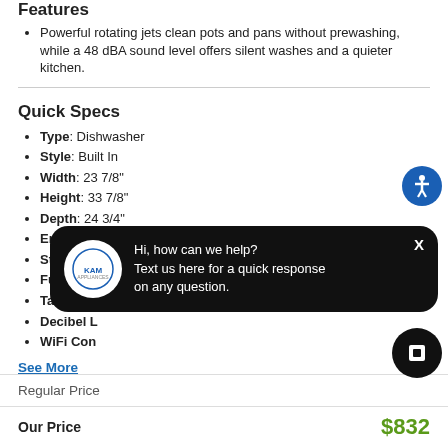Features
Powerful rotating jets clean pots and pans without prewashing, while a 48 dBA sound level offers silent washes and a quieter kitchen.
Quick Specs
Type: Dishwasher
Style: Built In
Width: 23 7/8"
Height: 33 7/8"
Depth: 24 3/4"
Energy Star Rated: Yes
Stainless Steel Tub:
Fully Inte
Tall Tub:
Decibel L
WiFi Con
See More
| Label | Value |
| --- | --- |
| Regular Price |  |
| Our Price | $832 |